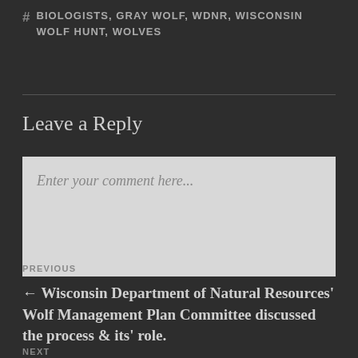# BIOLOGISTS, GRAY WOLF, WDNR, WISCONSIN WOLF HUNT, WOLVES
Leave a Reply
Enter your comment here...
PREVIOUS
← Wisconsin Department of Natural Resources' Wolf Management Plan Committee discussed the process & its' role.
NEXT